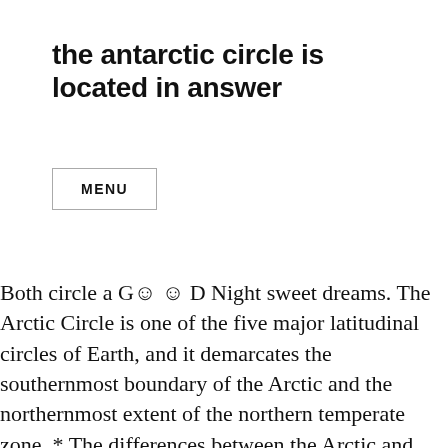the antarctic circle is located in answer
MENU
Both circle a G☺ ☺ D Night sweet dreams. The Arctic Circle is one of the five major latitudinal circles of Earth, and it demarcates the southernmost boundary of the Arctic and the northernmost extent of the northern temperate zone. * The differences between the Arctic and Antarctic can fill an encyclopedia. B) The Arctic circle. The Arctic Circle is a line of latitude located at the top of the globe. South Georgia is the most visited